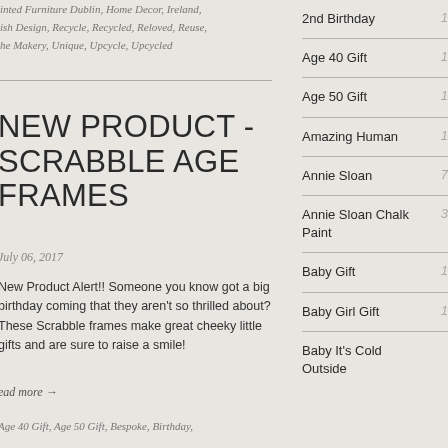inted Furniture Dublin, Home Decor, Ireland, ish Design, Recycle, Recycled, Reloved, Reuse, he Makery, Unique, Upcycle, Upcycled
NEW PRODUCT - SCRABBLE AGE FRAMES
July 06, 2017
New Product Alert!! Someone you know got a big birthday coming that they aren't so thrilled about? These Scrabble frames make great cheeky little gifts and are sure to raise a smile!
Read more →
Age 40 Gift, Age 50 Gift, Bespoke, Birthday,
2nd Birthday 1
Age 40 Gift 1
Age 50 Gift 1
Amazing Human 1
Annie Sloan 7
Annie Sloan Chalk Paint 3
Baby Gift 1
Baby Girl Gift 1
Baby It's Cold Outside